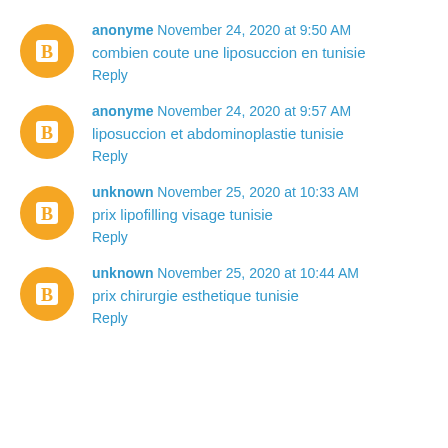anonyme November 24, 2020 at 9:50 AM
combien coute une liposuccion en tunisie
Reply
anonyme November 24, 2020 at 9:57 AM
liposuccion et abdominoplastie tunisie
Reply
unknown November 25, 2020 at 10:33 AM
prix lipofilling visage tunisie
Reply
unknown November 25, 2020 at 10:44 AM
prix chirurgie esthetique tunisie
Reply